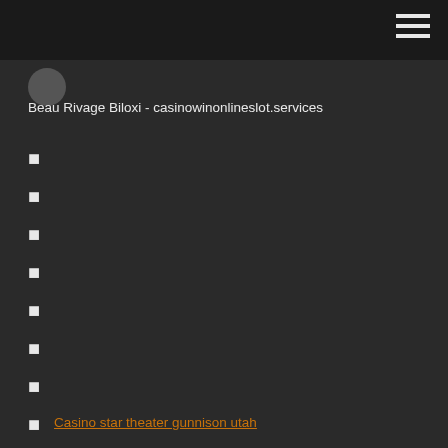Beau Rivage Biloxi - casinowinonlineslot.services
Casino star theater gunnison utah
Most popular gambling sites uk
Wheel of fortune puzzle pop game
How to make slot machines give legendaries borderlands 2 ps3